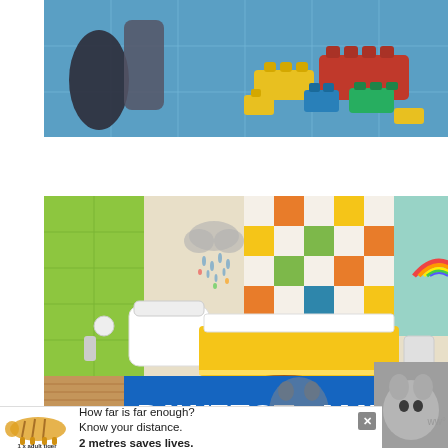[Figure (photo): Top-down view of a blue tile floor with black and gray toys/objects on the left and colorful LEGO-style building blocks (yellow, red, blue, green) on the right]
[Figure (photo): Children's bathroom interior with green and colorful checkered tiles (orange, yellow, green), white wall-mounted toilet, yellow bathtub panel, brown bath mat on wood floor, and a rainbow decoration visible through the window]
[Figure (infographic): PAWFECT MATCH advertisement banner on blue background with a cat photo in center]
[Figure (infographic): COVID-19 social distancing advertisement: tiger silhouette with text 'How far is far enough? Know your distance. 2 metres saves lives.' and label '1 x adult tiger']